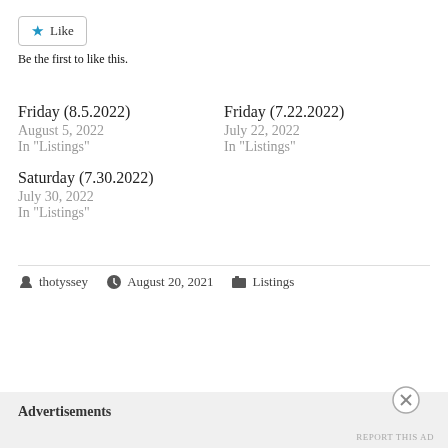[Figure (other): Like button with star icon and label 'Like']
Be the first to like this.
Friday (8.5.2022)
August 5, 2022
In "Listings"
Friday (7.22.2022)
July 22, 2022
In "Listings"
Saturday (7.30.2022)
July 30, 2022
In "Listings"
thotyssey  August 20, 2021  Listings
Advertisements